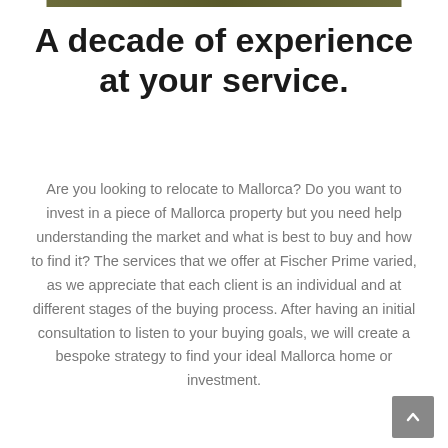[Figure (photo): Partial image strip at top of page showing natural/outdoor scene]
A decade of experience at your service.
Are you looking to relocate to Mallorca? Do you want to invest in a piece of Mallorca property but you need help understanding the market and what is best to buy and how to find it? The services that we offer at Fischer Prime varied, as we appreciate that each client is an individual and at different stages of the buying process. After having an initial consultation to listen to your buying goals, we will create a bespoke strategy to find your ideal Mallorca home or investment.